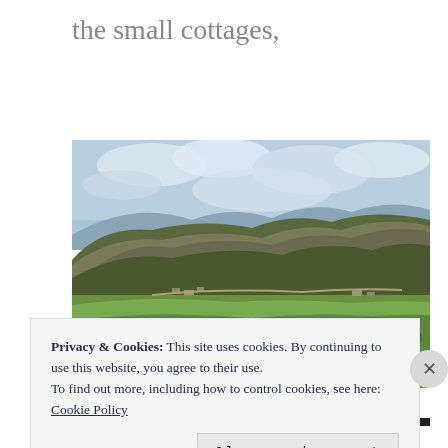the small cottages,
[Figure (photo): Landscape photograph showing a mountainside covered with trees and sparse vegetation under a cloudy sky, with a green valley and small settlement in the foreground]
Privacy & Cookies: This site uses cookies. By continuing to use this website, you agree to their use.
To find out more, including how to control cookies, see here:
Cookie Policy
Close and accept